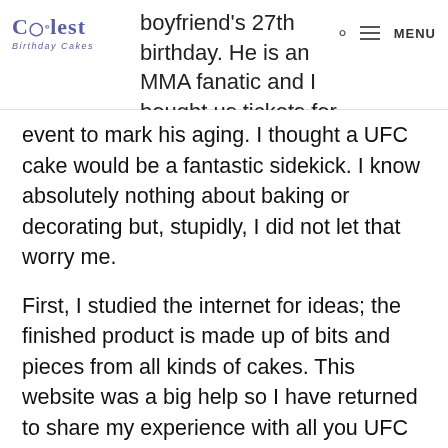boyfriend's 27th birthday. He is an MMA fanatic and I bought us tickets for an MMA | MENU
event to mark his aging. I thought a UFC cake would be a fantastic sidekick. I know absolutely nothing about baking or decorating but, stupidly, I did not let that worry me.
First, I studied the internet for ideas; the finished product is made up of bits and pieces from all kinds of cakes. This website was a big help so I have returned to share my experience with all you UFC cake-making virgins out there and spare you the horrors of faulty Octagon cake making as experienced by me. If you know anything about making cakes you can probably skip this.